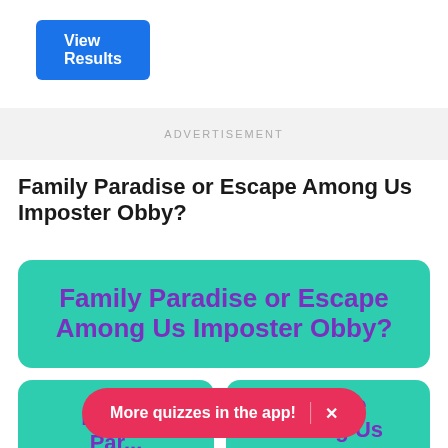[Figure (screenshot): Blue 'View Results' button]
ADVERTISEMENT
Family Paradise or Escape Among Us Imposter Obby?
[Figure (screenshot): Teal answer card: Family Paradise or Escape Among Us Imposter Obby? in purple bold text]
[Figure (screenshot): Teal answer card (left): Family Par... in purple bold text]
[Figure (screenshot): Teal answer card (right): Escape Among Us Imp... in purple bold text]
More quizzes in the app!